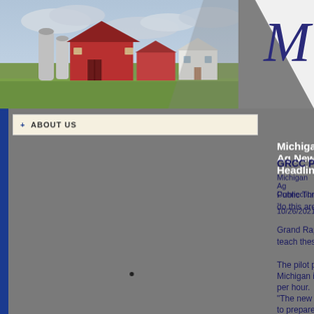[Figure (photo): Farm scene with red barns, grain silos, and farmhouse under cloudy sky, with green grass in foreground]
[Figure (illustration): Cursive letter M in dark blue/navy on white background, top right corner decorative element]
+ ABOUT US
Michigan Ag News Headlines
GRCC Partnering with Innovative Textile 'Upcycling' Company...
Michigan Ag Connection - 10/26/2021
Public Thread, a Grand Rapids-based company, creates products by "upcycling" used materials; but the skills needed to do this are in great demand from a variety of local industries.
Grand Rapids Community College is teaming up with Public Thread to create an industrial sewing certificate program to teach these in-demand skills.
The pilot program, which starts on Oct. 26, trains students to use commercial sewing machines used in a variety of West Michigan industries, including automotive and furniture manufacturing. Jobs' starting wages are between $17 and $23 per hour.
"The new industrial sewing program is an example of how the college partners with local employers to identify new ways to prepare people to have skills leading to rewarding careers here in Michigan," said Julie Parks, interim dean of GRCC's Workforce Development. "Building a talented workforce...